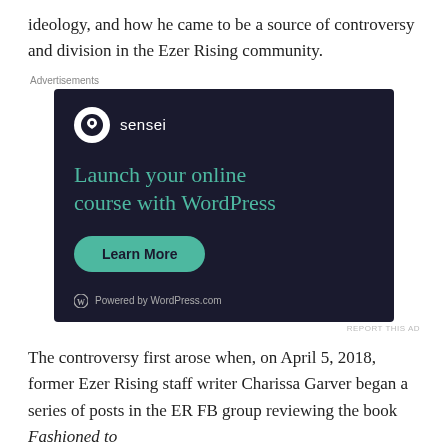ideology, and how he came to be a source of controversy and division in the Ezer Rising community.
[Figure (screenshot): Advertisement for Sensei WordPress plugin. Dark background with Sensei logo, headline 'Launch your online course with WordPress', a 'Learn More' button, and 'Powered by WordPress.com' footer.]
The controversy first arose when, on April 5, 2018, former Ezer Rising staff writer Charissa Garver began a series of posts in the ER FB group reviewing the book Fashioned to